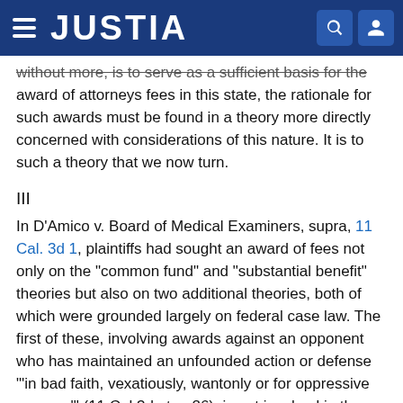JUSTIA
without more, is to serve as a sufficient basis for the award of attorneys fees in this state, the rationale for such awards must be found in a theory more directly concerned with considerations of this nature. It is to such a theory that we now turn.
III
In D'Amico v. Board of Medical Examiners, supra, 11 Cal. 3d 1, plaintiffs had sought an award of fees not only on the "common fund" and "substantial benefit" theories but also on two additional theories, both of which were grounded largely on federal case law. The first of these, involving awards against an opponent who has maintained an unfounded action or defense "'in bad faith, vexatiously, wantonly or for oppressive reasons'" (11 Cal.3d at p. 26), is not involved in the instant case and we do not address ourselves to it. However, the